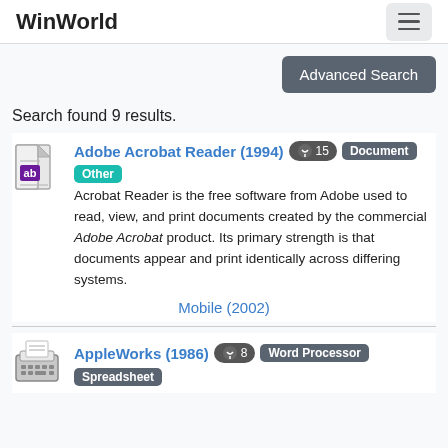WinWorld
Advanced Search
Search found 9 results.
Adobe Acrobat Reader (1994) [download 15] Document Other
Acrobat Reader is the free software from Adobe used to read, view, and print documents created by the commercial Adobe Acrobat product. Its primary strength is that documents appear and print identically across differing systems.
Mobile (2002)
AppleWorks (1986) [download 8] Word Processor Spreadsheet